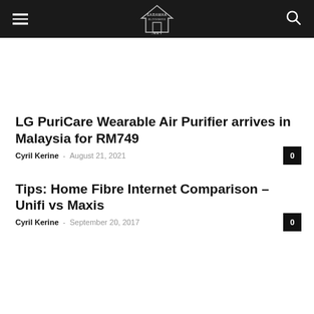Sarawak Bloggers .NET
LG PuriCare Wearable Air Purifier arrives in Malaysia for RM749
Cyril Kerine – August 21, 2021   0
Tips: Home Fibre Internet Comparison – Unifi vs Maxis
Cyril Kerine – September 20, 2017   0